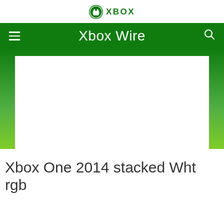[Figure (logo): Xbox logo with circular icon and XBOX wordmark in green]
Xbox Wire
[Figure (screenshot): White blank content card area over green gradient background]
Xbox One 2014 stacked Wht rgb